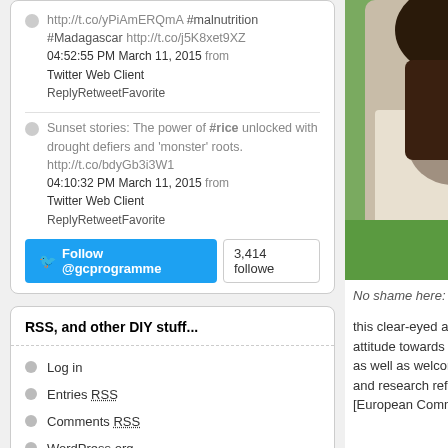http://t.co/yPiAmERQmA #malnutrition #Madagascar http://t.co/j5K8xet9XZ 04:52:55 PM March 11, 2015 from Twitter Web Client ReplyRetweetFavorite
Sunset stories: The power of #rice unlocked with drought defiers and 'monster' roots. http://t.co/bdyGb3i3W1 04:10:32 PM March 11, 2015 from Twitter Web Client ReplyRetweetFavorite
Follow @gcprogramme  3,414 followers
RSS, and other DIY stuff...
Log in
Entries RSS
Comments RSS
WordPress.org
[Figure (photo): Close-up photo of a person carrying a child on their back, outdoors with green grass in background]
No shame here: a lit…
this clear-eyed approach attitude towards externa as well as welcoming a and research reforms th [European Commission]